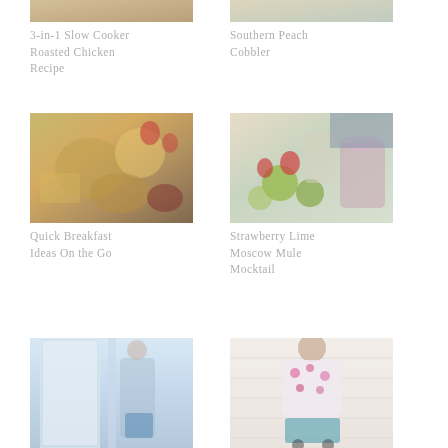[Figure (photo): Food photo - 3-in-1 Slow Cooker Roasted Chicken Recipe, partially visible at top]
3-in-1 Slow Cooker Roasted Chicken Recipe
[Figure (photo): Food photo - Southern Peach Cobbler, partially visible at top]
Southern Peach Cobbler
[Figure (photo): Food photo - Quick Breakfast Ideas On the Go, flat-lay of breakfast items]
Quick Breakfast Ideas On the Go
[Figure (photo): Drink photo - Strawberry Lime Moscow Mule Mocktail with limes, strawberries and ginger beer]
Strawberry Lime Moscow Mule Mocktail
[Figure (photo): Lifestyle photo - person near white door, partially visible at bottom]
[Figure (photo): Lifestyle/fashion photo - woman in floral top, partially visible at bottom]